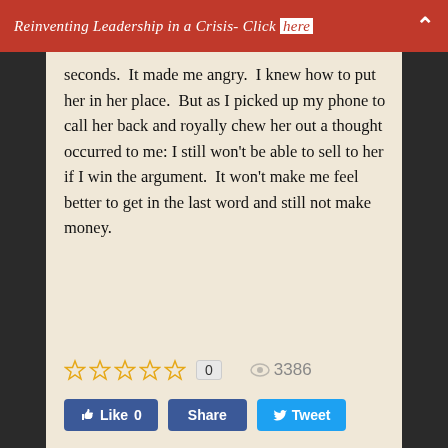Reinventing Leadership in a Crisis- Click here
seconds.  It made me angry.  I knew how to put her in her place.  But as I picked up my phone to call her back and royally chew her out a thought occurred to me: I still won't be able to sell to her if I win the argument.  It won't make me feel better to get in the last word and still not make money.
Continue reading
☆☆☆☆☆  0   👁 3386
👍 Like 0   Share   🐦 Tweet
Five Ways to Increase Your Value, Part 3
How can you increase value and sales in a turbulent and unpredictable economy?